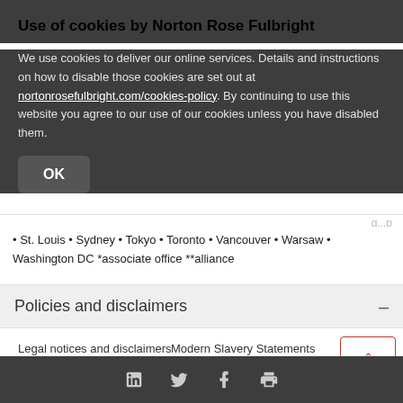Use of cookies by Norton Rose Fulbright
We use cookies to deliver our online services. Details and instructions on how to disable those cookies are set out at nortonrosefulbright.com/cookies-policy. By continuing to use this website you agree to our use of our cookies unless you have disabled them.
• St. Louis • Sydney • Tokyo • Toronto • Vancouver • Warsaw • Washington DC *associate office **alliance
Policies and disclaimers
Legal notices and disclaimers
Modern Slavery Statements
Impressum
Health plan machine read
Social icons: LinkedIn, Twitter, Facebook, Print